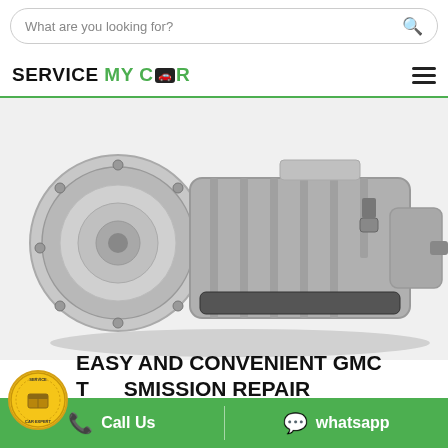What are you looking for?
SERVICE MY CAR
[Figure (photo): A silver automotive automatic transmission unit photographed on a white background, shown at an angle revealing the torque converter (drum-shaped front), gear housing body, and output shaft end.]
EASY AND CONVENIENT GMC TRANSMISSION REPAIR
Quick and efficient service
Call Us | whatsapp